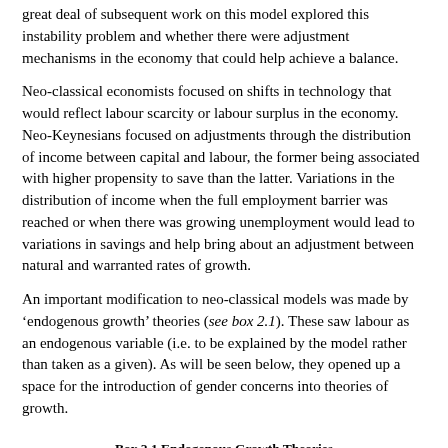great deal of subsequent work on this model explored this instability problem and whether there were adjustment mechanisms in the economy that could help achieve a balance.
Neo-classical economists focused on shifts in technology that would reflect labour scarcity or labour surplus in the economy. Neo-Keynesians focused on adjustments through the distribution of income between capital and labour, the former being associated with higher propensity to save than the latter. Variations in the distribution of income when the full employment barrier was reached or when there was growing unemployment would lead to variations in savings and help bring about an adjustment between natural and warranted rates of growth.
An important modification to neo-classical models was made by 'endogenous growth' theories (see box 2.1). These saw labour as an endogenous variable (i.e. to be explained by the model rather than taken as a given). As will be seen below, they opened up a space for the introduction of gender concerns into theories of growth.
Box 2.1 Endogenous Growth Theories
Early models of economic growth saw the rate of growth of the labour force as determined by rate of